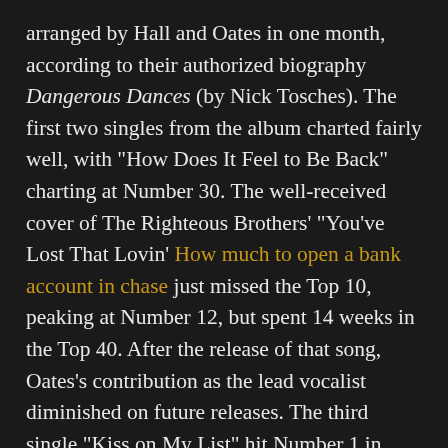arranged by Hall and Oates in one month, according to their authorized biography Dangerous Dances (by Nick Tosches). The first two singles from the album charted fairly well, with "How Does It Feel to Be Back" charting at Number 30. The well-received cover of The Righteous Brothers' "You've Lost That Lovin' How much to open a bank account in chase just missed the Top 10, peaking at Number 12, but spent 14 weeks in the Top 40. After the release of that song, Oates's contribution as the lead vocalist diminished on future releases. The third single "Kiss on My List" hit Number 1 in April 1981 and remained there for three weeks. The follow-up single "You Make My Dreams" reached Number 5 in July of that year.[citation needed]
The other well-known song from Voices is the emotive ballad "Every time You Go Away" with a powerful lead vocal...